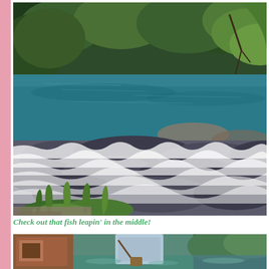[Figure (photo): Outdoor nature photo of a rocky river or stream with rushing whitewater rapids in the foreground. The water cascades over and between dark rocks, creating a frothy white appearance. Behind the rapids is a calm, deep teal-blue pool of water. The background shows lush green trees and vegetation on the riverbank. Green plants and grasses are visible at the lower edge of the photo.]
Check out that fish leapin' in the middle!
[Figure (photo): Photo of a person standing in a stream or shallow water, wearing a light blue shirt and carrying a bag or satchel. The background shows water and green vegetation. The photo is partially cropped.]